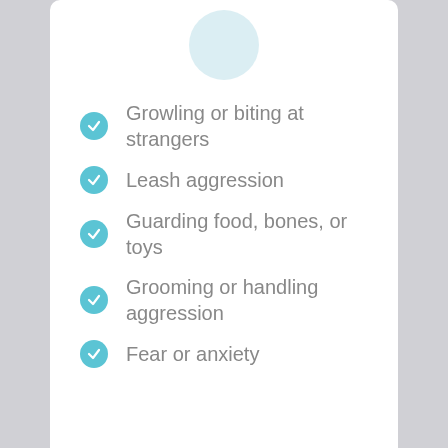[Figure (illustration): Partial circular icon at top of card, light blue circle]
Growling or biting at strangers
Leash aggression
Guarding food, bones, or toys
Grooming or handling aggression
Fear or anxiety
Socialization